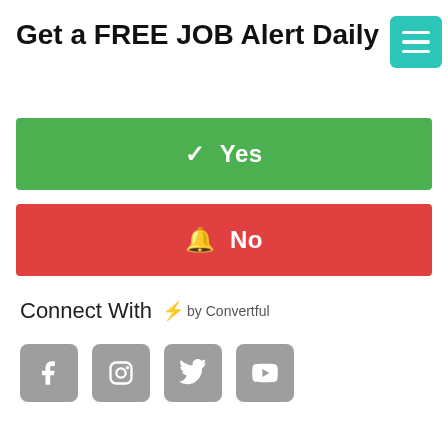Get a FREE JOB Alert Daily
✓ Yes
🔔 No
Connect With ⚡ by Convertful
[Figure (illustration): Four social media icon buttons: Facebook, Instagram, Twitter, YouTube — grey rounded square buttons with white icons]